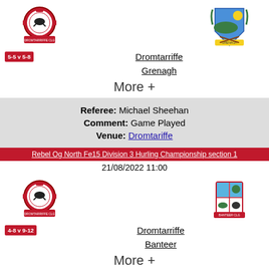[Figure (logo): Dromtarriffe GAA club crest - red circular badge with bird]
[Figure (logo): Grenagh GAA club crest - shield with landscape scene]
5-5 v 5-8
Dromtarriffe
Grenagh
More +
Referee: Michael Sheehan
Comment: Game Played
Venue: Dromtariffe
Rebel Og North Fe15 Division 3 Hurling Championship section 1
21/08/2022 11:00
[Figure (logo): Dromtarriffe GAA club crest - red circular badge with bird]
[Figure (logo): Banteer GAA club crest - four-quadrant shield]
4-8 v 9-12
Dromtarriffe
Banteer
More +